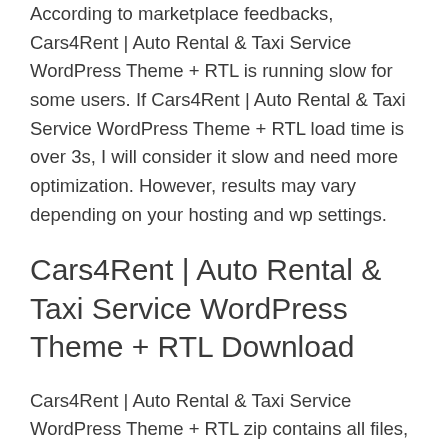According to marketplace feedbacks, Cars4Rent | Auto Rental & Taxi Service WordPress Theme + RTL is running slow for some users. If Cars4Rent | Auto Rental & Taxi Service WordPress Theme + RTL load time is over 3s, I will consider it slow and need more optimization. However, results may vary depending on your hosting and wp settings.
Cars4Rent | Auto Rental & Taxi Service WordPress Theme + RTL Download
Cars4Rent | Auto Rental & Taxi Service WordPress Theme + RTL zip contains all files, documentation and license for the product.